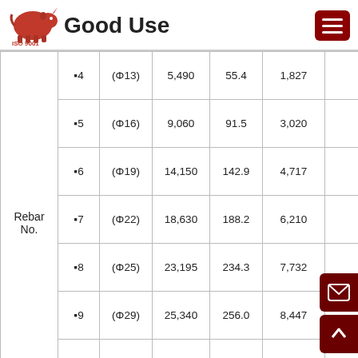Good Use ISO 9001
|  | Rebar No. | (Φ) | N1 | N2 | N3 |
| --- | --- | --- | --- | --- | --- |
|  | ▪4 | (Φ13) | 5,490 | 55.4 | 1,827 |
|  | ▪5 | (Φ16) | 9,060 | 91.5 | 3,020 |
|  | ▪6 | (Φ19) | 14,150 | 142.9 | 4,717 |
| Rebar No. | ▪7 | (Φ22) | 18,630 | 188.2 | 6,210 |
|  | ▪8 | (Φ25) | 23,195 | 234.3 | 7,732 |
|  | ▪9 | (Φ29) | 25,340 | 256.0 | 8,447 |
|  | ▪10 | (Φ32) | 32,120 | 324.4 | 10,707 |
1. Concrete Strength fc': 280kg/cm2 (4,000 psi)